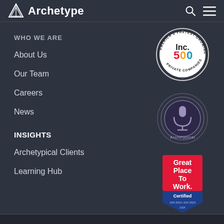Archetype
WHO WE ARE
About Us
Our Team
Careers
News
INSIGHTS
Archetypical Clients
Learning Hub
[Figure (logo): Inc. 500 America's Fastest-Growing Private Companies circular badge]
[Figure (logo): Archetypical podcast circular logo with microphone icon]
[Figure (logo): Great Place To Work Certified JUN 2022-JUN 2023 USA badge]